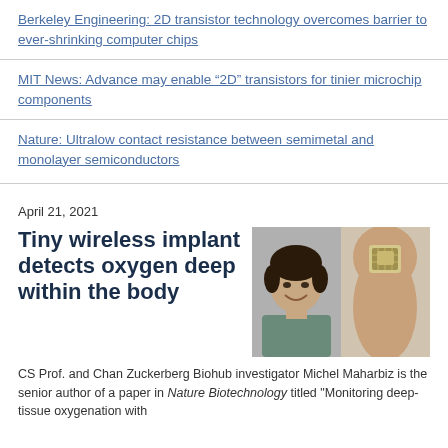Berkeley Engineering: 2D transistor technology overcomes barrier to ever-shrinking computer chips
MIT News: Advance may enable “2D” transistors for tinier microchip components
Nature: Ultralow contact resistance between semimetal and monolayer semiconductors
April 21, 2021
Tiny wireless implant detects oxygen deep within the body
[Figure (photo): Left: headshot of a man with curly dark hair smiling; Right: a fingertip holding a tiny microchip implant]
CS Prof. and Chan Zuckerberg Biohub investigator Michel Maharbiz is the senior author of a paper in Nature Biotechnology titled "Monitoring deep-tissue oxygenation with